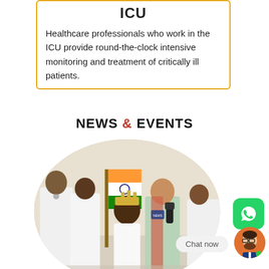ICU
Healthcare professionals who work in the ICU provide round-the-clock intensive monitoring and treatment of critically ill patients.
NEWS & EVENTS
[Figure (photo): Oval-cropped photograph of healthcare professionals and a reporter at what appears to be an Independence Day event, with Indian flag visible.]
[Figure (logo): WhatsApp logo icon — green rounded square with white phone handset]
Chat now